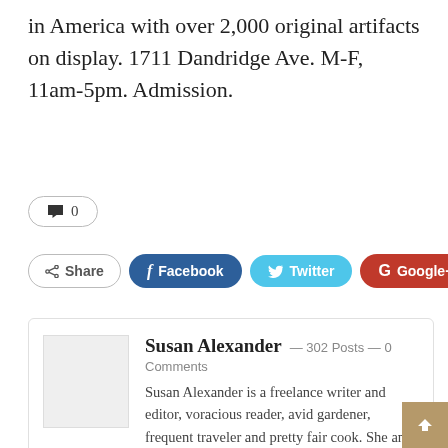in America with over 2,000 original artifacts on display. 1711 Dandridge Ave. M-F, 11am-5pm. Admission.
🗨 0
Share | Facebook | Twitter | Google+ | +
Susan Alexander — 302 Posts — 0 Comments
Susan Alexander is a freelance writer and editor, voracious reader, avid gardener, frequent traveler and pretty fair cook. She and her husband dote on their three grown kids and their perfect granddaughter.